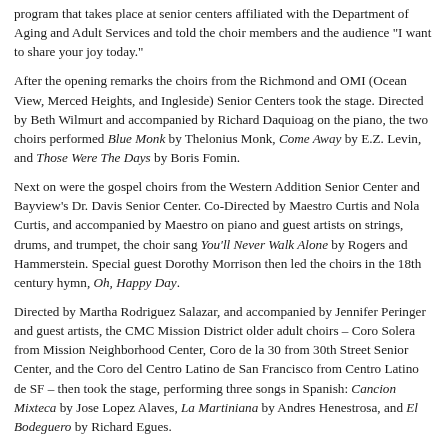program that takes place at senior centers affiliated with the Department of Aging and Adult Services and told the choir members and the audience "I want to share your joy today."
After the opening remarks the choirs from the Richmond and OMI (Ocean View, Merced Heights, and Ingleside) Senior Centers took the stage. Directed by Beth Wilmurt and accompanied by Richard Daquioag on the piano, the two choirs performed Blue Monk by Thelonius Monk, Come Away by E.Z. Levin, and Those Were The Days by Boris Fomin.
Next on were the gospel choirs from the Western Addition Senior Center and Bayview's Dr. Davis Senior Center. Co-Directed by Maestro Curtis and Nola Curtis, and accompanied by Maestro on piano and guest artists on strings, drums, and trumpet, the choir sang You'll Never Walk Alone by Rogers and Hammerstein. Special guest Dorothy Morrison then led the choirs in the 18th century hymn, Oh, Happy Day.
Directed by Martha Rodriguez Salazar, and accompanied by Jennifer Peringer and guest artists, the CMC Mission District older adult choirs – Coro Solera from Mission Neighborhood Center, Coro de la 30 from 30th Street Senior Center, and the Coro del Centro Latino de San Francisco from Centro Latino de SF – then took the stage, performing three songs in Spanish: Cancion Mixteca by Jose Lopez Alaves, La Martiniana by Andres Henestrosa, and El Bodeguero by Richard Egues.